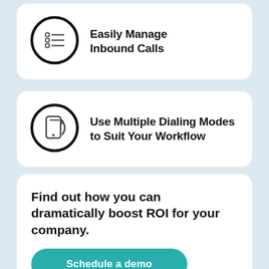[Figure (illustration): Icon of a list/checklist inside a circle, representing inbound call management]
Easily Manage Inbound Calls
[Figure (illustration): Icon of a smartphone with a dialing/refresh arrow inside a circle, representing multiple dialing modes]
Use Multiple Dialing Modes to Suit Your Workflow
Find out how you can dramatically boost ROI for your company.
Schedule a demo